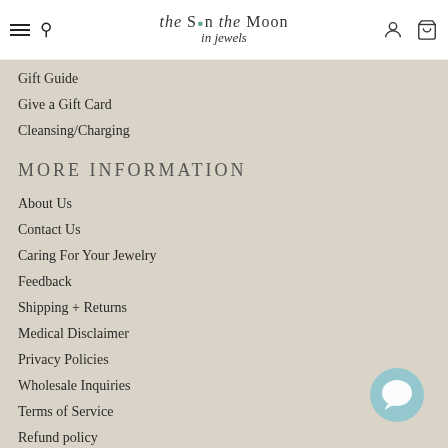The Sun the Moon in Jewels — navigation header
Gift Guide
Give a Gift Card
Cleansing/Charging
MORE INFORMATION
About Us
Contact Us
Caring For Your Jewelry
Feedback
Shipping + Returns
Medical Disclaimer
Privacy Policies
Wholesale Inquiries
Terms of Service
Refund policy
[Figure (illustration): Light blue circular chat/messaging bubble icon in bottom right corner]